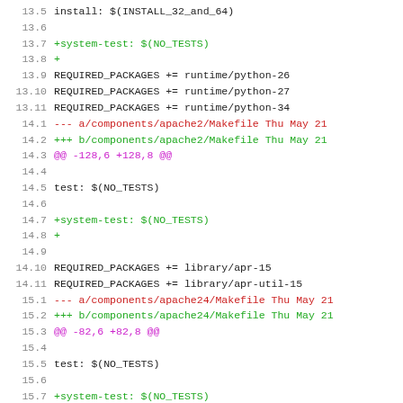[Figure (screenshot): Diff/patch output showing line numbers and code changes to Makefiles for apache2, apache24, and apr-1_5 components. Lines are color-coded: green for additions, red for removals, magenta for hunk headers, and black for context lines.]